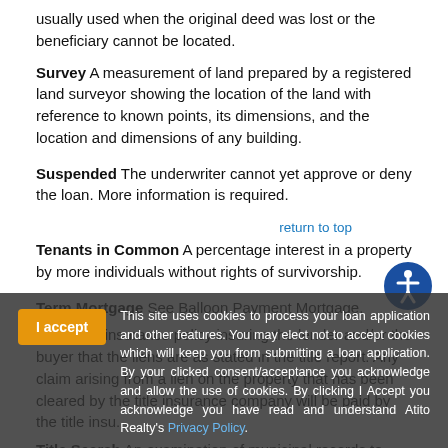usually used when the original deed was lost or the beneficiary cannot be located.
Survey A measurement of land prepared by a registered land surveyor showing the location of the land with reference to known points, its dimensions, and the location and dimensions of any building.
Suspended The underwriter cannot yet approve or deny the loan. More information is required.
Tenants in Common A percentage interest in a property by more individuals without rights of survivorship.
Term Mortgage See Balloon Payment Mortgage.
Title Insurance The insurance policy insuring the lender and/or the buyer that the liens are as stated in the title report. Any claim arising from a lien on the property that has been cleared by the title insurance company will be paid by the title insurance company.
Title Search An examination of municipal records to determine the legal ownership of property. Usually is performed by a title company.
Cookie banner: This site uses cookies to process your loan application and other features. You may elect not to accept cookies which will keep you from submitting a loan application. By your clicked consent/acceptance you acknowledge and allow the use of cookies. By clicking I Accept you acknowledge you have read and understand Atito Realty's Privacy Policy.